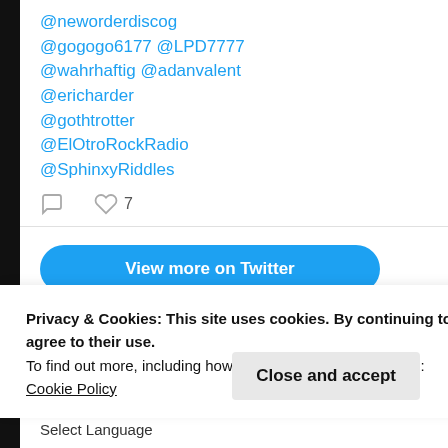@neworderdiscog @gogogo6177 @LPD7777 @wahrhaftig @adanvalent @ericharder @gothtrotter @ElOtroRockRadio @SphinxyRiddles
View more on Twitter
Learn more about privacy on Twitter
Privacy & Cookies: This site uses cookies. By continuing to use this website, you agree to their use. To find out more, including how to control cookies, see here: Cookie Policy
Close and accept
Select Language